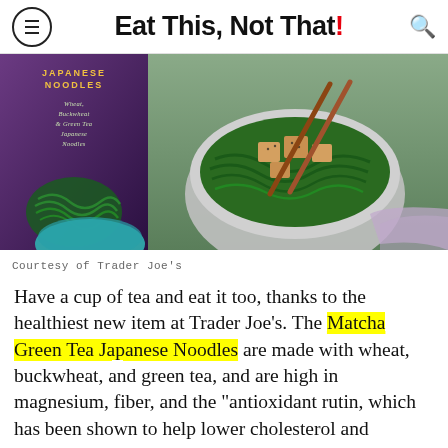Eat This, Not That!
[Figure (photo): Photo of Trader Joe's Matcha Japanese Noodles package on the left and a bowl of green tea noodles with tofu and chopsticks on the right]
Courtesy of Trader Joe's
Have a cup of tea and eat it too, thanks to the healthiest new item at Trader Joe's. The Matcha Green Tea Japanese Noodles are made with wheat, buckwheat, and green tea, and are high in magnesium, fiber, and the "antioxidant rutin, which has been shown to help lower cholesterol and